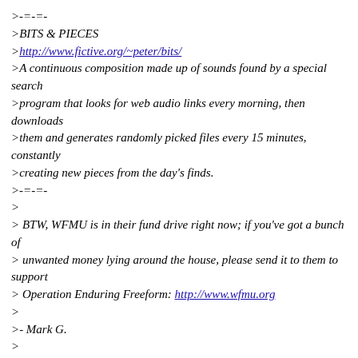>-=-=-
>BITS & PIECES
>http://www.fictive.org/~peter/bits/
>A continuous composition made up of sounds found by a special search
>program that looks for web audio links every morning, then downloads
>them and generates randomly picked files every 15 minutes, constantly
>creating new pieces from the day's finds.
>-=-=-
>
> BTW, WFMU is in their fund drive right now; if you've got a bunch of
> unwanted money lying around the house, please send it to them to support
> Operation Enduring Freeform: http://www.wfmu.org
>
>- Mark G.
>
>--
>eccATpobox.com The Evolution Control
>Committee
>>>>  WWWeb: http://evolution-control.com <<<
>